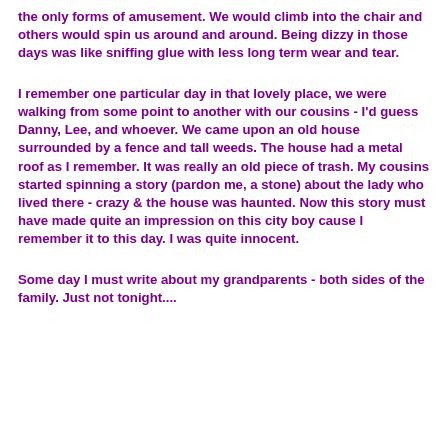the only forms of amusement. We would climb into the chair and others would spin us around and around. Being dizzy in those days was like sniffing glue with less long term wear and tear.
I remember one particular day in that lovely place, we were walking from some point to another with our cousins - I'd guess Danny, Lee, and whoever. We came upon an old house surrounded by a fence and tall weeds. The house had a metal roof as I remember. It was really an old piece of trash. My cousins started spinning a story (pardon me, a stone) about the lady who lived there - crazy & the house was haunted. Now this story must have made quite an impression on this city boy cause I remember it to this day. I was quite innocent.
Some day I must write about my grandparents - both sides of the family. Just not tonight....